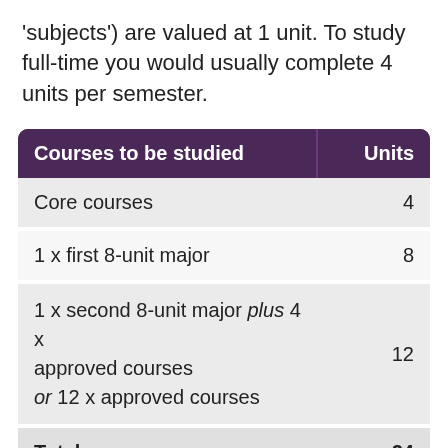'subjects') are valued at 1 unit. To study full-time you would usually complete 4 units per semester.
| Courses to be studied | Units |
| --- | --- |
| Core courses | 4 |
| 1 x first 8-unit major | 8 |
| 1 x second 8-unit major plus 4 x approved courses
or 12 x approved courses | 12 |
| Total | 24 |